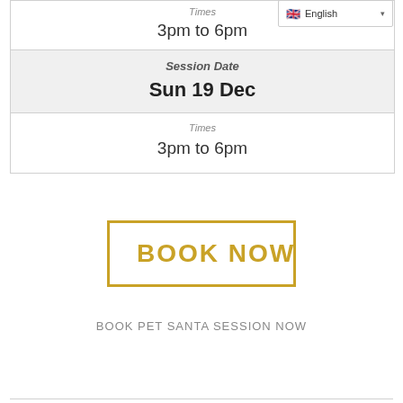Times
3pm to 6pm
| Session Date |
| --- |
| Sun 19 Dec |
Times
3pm to 6pm
BOOK NOW
BOOK PET SANTA SESSION NOW